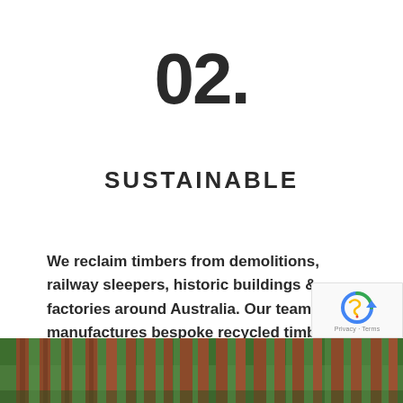02.
SUSTAINABLE
We reclaim timbers from demolitions, railway sleepers, historic buildings & factories around Australia. Our team manufactures bespoke recycled timber products from Australian hardwoods.
[Figure (photo): Forest of tall trees with reddish-brown trunks and green foliage, viewed from below looking upward.]